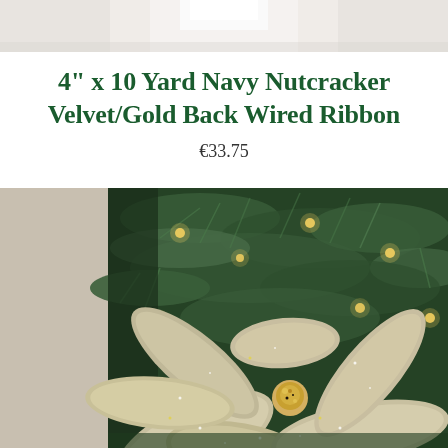[Figure (photo): Partial top view of a white decorative object, likely a ribbon spool or similar product, cropped at the top of the page]
4” x 10 Yard Navy Nutcracker Velvet/Gold Back Wired Ribbon
€33.75
[Figure (photo): Close-up photograph of a Christmas tree decorated with warm white lights and a large silver/gold glittery poinsettia ornament]